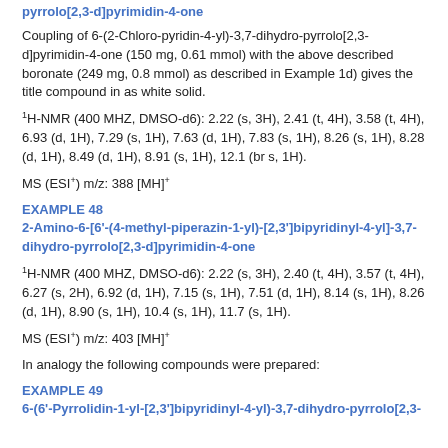pyrrolo[2,3-d]pyrimidin-4-one
Coupling of 6-(2-Chloro-pyridin-4-yl)-3,7-dihydro-pyrrolo[2,3-d]pyrimidin-4-one (150 mg, 0.61 mmol) with the above described boronate (249 mg, 0.8 mmol) as described in Example 1d) gives the title compound in as white solid.
1H-NMR (400 MHZ, DMSO-d6): 2.22 (s, 3H), 2.41 (t, 4H), 3.58 (t, 4H), 6.93 (d, 1H), 7.29 (s, 1H), 7.63 (d, 1H), 7.83 (s, 1H), 8.26 (s, 1H), 8.28 (d, 1H), 8.49 (d, 1H), 8.91 (s, 1H), 12.1 (br s, 1H).
MS (ESI+) m/z: 388 [MH]+
EXAMPLE 48
2-Amino-6-[6'-(4-methyl-piperazin-1-yl)-[2,3']bipyridinyl-4-yl]-3,7-dihydro-pyrrolo[2,3-d]pyrimidin-4-one
1H-NMR (400 MHZ, DMSO-d6): 2.22 (s, 3H), 2.40 (t, 4H), 3.57 (t, 4H), 6.27 (s, 2H), 6.92 (d, 1H), 7.15 (s, 1H), 7.51 (d, 1H), 8.14 (s, 1H), 8.26 (d, 1H), 8.90 (s, 1H), 10.4 (s, 1H), 11.7 (s, 1H).
MS (ESI+) m/z: 403 [MH]+
In analogy the following compounds were prepared:
EXAMPLE 49
6-(6'-Pyrrolidin-1-yl-[2,3']bipyridinyl-4-yl)-3,7-dihydro-pyrrolo[2,3-